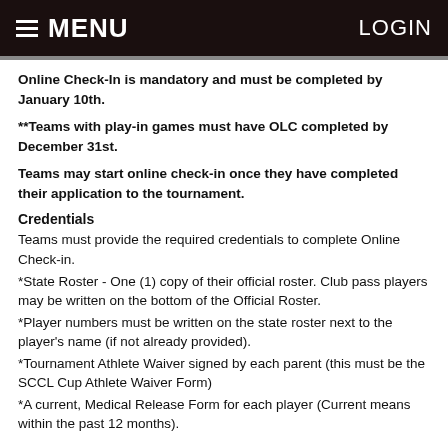≡ MENU   LOGIN
Online Check-In is mandatory and must be completed by January 10th.
**Teams with play-in games must have OLC completed by December 31st.
Teams may start online check-in once they have completed their application to the tournament.
Credentials
Teams must provide the required credentials to complete Online Check-in.
*State Roster - One (1) copy of their official roster. Club pass players may be written on the bottom of the Official Roster.
*Player numbers must be written on the state roster next to the player's name (if not already provided).
*Tournament Athlete Waiver signed by each parent (this must be the SCCL Cup Athlete Waiver Form)
*A current, Medical Release Form for each player (Current means within the past 12 months).